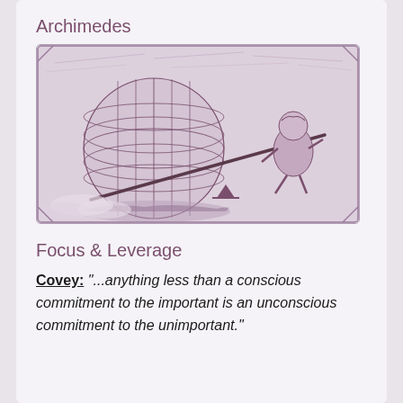Archimedes
[Figure (illustration): Vintage engraving illustration showing a globe/Earth with latitude/longitude grid lines being moved by a figure using a long lever, clouds in the background — an artistic depiction of Archimedes' leverage concept.]
Focus & Leverage
Covey: "...anything less than a conscious commitment to the important is an unconscious commitment to the unimportant."